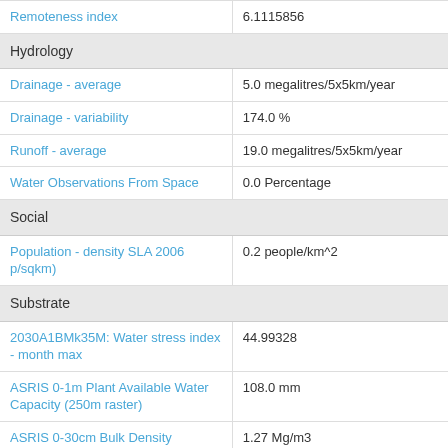| Attribute | Value |
| --- | --- |
| Remoteness index | 6.1115856 |
| Hydrology |  |
| Drainage - average | 5.0 megalitres/5x5km/year |
| Drainage - variability | 174.0 % |
| Runoff - average | 19.0 megalitres/5x5km/year |
| Water Observations From Space | 0.0 Percentage |
| Social |  |
| Population - density SLA 2006 p/sqkm) | 0.2 people/km^2 |
| Substrate |  |
| 2030A1BMk35M: Water stress index - month max | 44.99328 |
| ASRIS 0-1m Plant Available Water Capacity (250m raster) | 108.0 mm |
| ASRIS 0-30cm Bulk Density | 1.27 Mg/m3 |